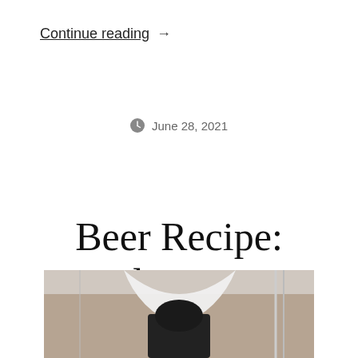Continue reading →
June 28, 2021
Beer Recipe: Redcoat IPA
[Figure (photo): Bottom portion of a photograph showing a person or statue, partially visible, with a building in the background. Black and white and gray tones dominate the lower portion of the image.]